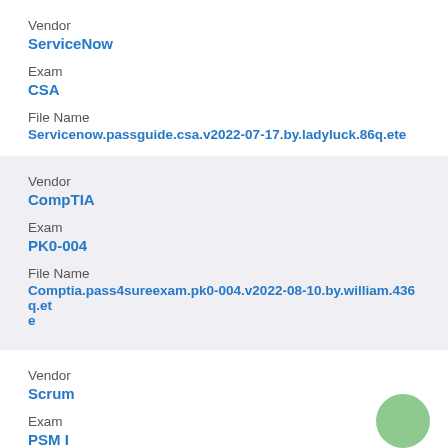Vendor
ServiceNow
Exam
CSA
File Name
Servicenow.passguide.csa.v2022-07-17.by.ladyluck.86q.ete
Vendor
CompTIA
Exam
PK0-004
File Name
Comptia.pass4sureexam.pk0-004.v2022-08-10.by.william.436q.ete
Vendor
Scrum
Exam
PSM I